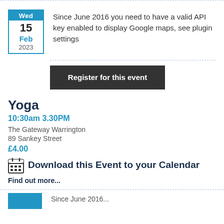Since June 2016 you need to have a valid API key enabled to display Google maps, see plugin settings
Register for this event
Yoga
10:30am 3.30PM
The Gateway Warrington
89 Sankey Street
£4.00
Download this Event to your Calendar
Find out more...
Since June 2016...